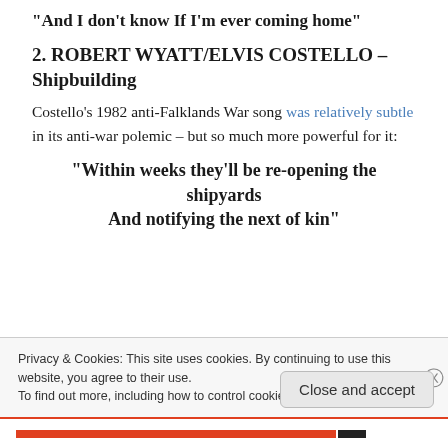“And I don’t know If I’m ever coming home”
2. ROBERT WYATT/ELVIS COSTELLO – Shipbuilding
Costello’s 1982 anti-Falklands War song was relatively subtle in its anti-war polemic – but so much more powerful for it:
“Within weeks they’ll be re-opening the shipyards
And notifying the next of kin”
Privacy & Cookies: This site uses cookies. By continuing to use this website, you agree to their use.
To find out more, including how to control cookies, see here: Cookie Policy